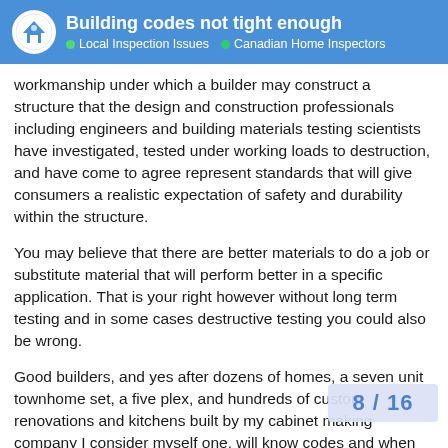Building codes not tight enough
workmanship under which a builder may construct a structure that the design and construction professionals including engineers and building materials testing scientists have investigated, tested under working loads to destruction, and have come to agree represent standards that will give consumers a realistic expectation of safety and durability within the structure.
You may believe that there are better materials to do a job or substitute material that will perform better in a specific application. That is your right however without long term testing and in some cases destructive testing you could also be wrong.
Good builders, and yes after dozens of homes, a seven unit townhome set, a five plex, and hundreds of custom renovations and kitchens built by my cabinet making company I consider myself one, will know codes and when not to push the material to maximum use simply because they desi they can look to with pride.
8 / 16